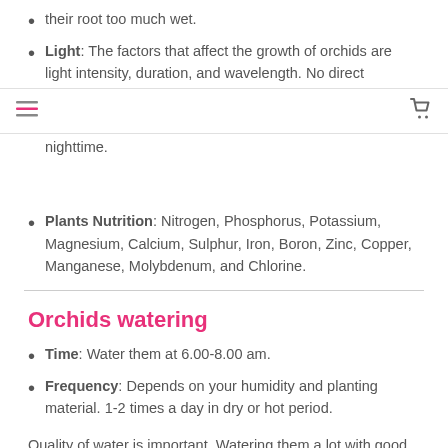their root too much wet.
Light: The factors that affect the growth of orchids are light intensity, duration, and wavelength. No direct sunlight. 50-60% shaded net is recommended.
Temperature: 25 – 30 °C at daytime and 15 – 20 °C at nighttime.
Plants Nutrition: Nitrogen, Phosphorus, Potassium, Magnesium, Calcium, Sulphur, Iron, Boron, Zinc, Copper, Manganese, Molybdenum, and Chlorine.
Orchids watering
Time: Water them at 6.00-8.00 am.
Frequency: Depends on your humidity and planting material. 1-2 times a day in dry or hot period.
Quality of water is important. Watering them a lot with good quality water, less watering when you have poor quality water. This concept should be in your mind